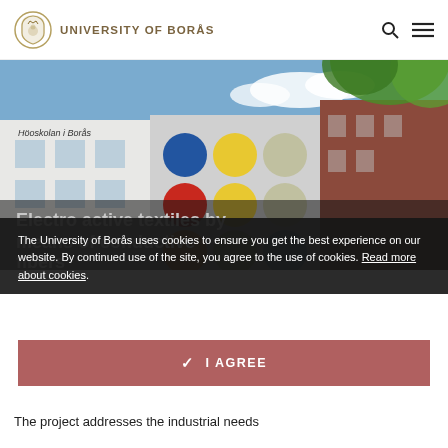UNIVERSITY OF BORÅS
[Figure (photo): University of Borås building exterior with colorful circles on facade, photographed from below with green leaves visible and blue sky]
Electro active textiles by means of conductive fibers
The University of Borås uses cookies to ensure you get the best experience on our website. By continued use of the site, you agree to the use of cookies. Read more about cookies.
✓ I AGREE
The project addresses the industrial needs